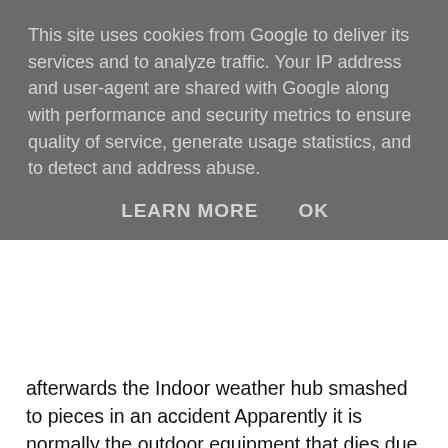This site uses cookies from Google to deliver its services and to analyze traffic. Your IP address and user-agent are shared with Google along with performance and security metrics to ensure quality of service, generate usage statistics, and to detect and address abuse.
LEARN MORE    OK
afterwards the Indoor weather hub smashed to pieces in an accident Apparently it is normally the outdoor equipment that dies due to the severity of the weather it is monitoring, but due to my own clumsiness my home office was a more severe environment than any Irish storm. It wasn't possible to buy a new hub unit so I bought a completely new kit. Luckily my old software configuration worked fine with the new hardware and service was quickly restored.
The software was completely automatic, but I found that sometimes my site stopped sending updates and although it was normally easy to fix